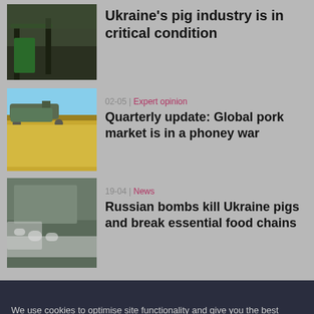[Figure (photo): Photo of a damaged or industrial building with green machinery/crane, dark and gloomy setting]
Ukraine's pig industry is in critical condition
02-05 | Expert opinion
[Figure (photo): Photo of a combine harvester in a golden wheat field under blue sky]
Quarterly update: Global pork market is in a phoney war
19-04 | News
[Figure (photo): Photo of dead pigs lying outside a farm building]
Russian bombs kill Ukraine pigs and break essential food chains
We use cookies to optimise site functionality and give you the best possible experience.